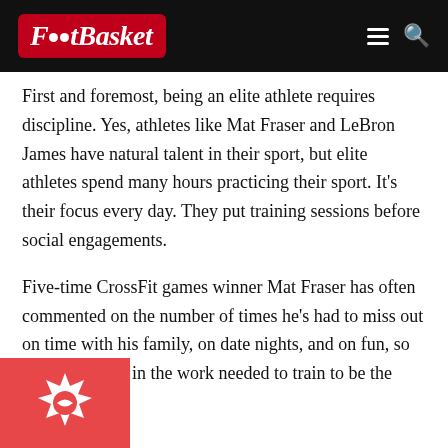FootBasket
First and foremost, being an elite athlete requires discipline. Yes, athletes like Mat Fraser and LeBron James have natural talent in their sport, but elite athletes spend many hours practicing their sport. It's their focus every day. They put training sessions before social engagements.
Five-time CrossFit games winner Mat Fraser has often commented on the number of times he's had to miss out on time with his family, on date nights, and on fun, so that he can put in the work needed to train to be the best.
[Figure (logo): Red background with white star/cog icon, partial image at bottom left]